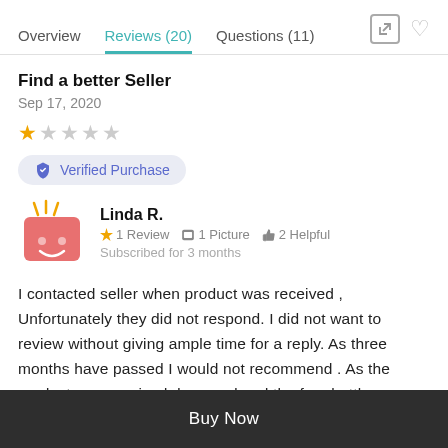Overview  Reviews (20)  Questions (11)
Find a better Seller
Sep 17, 2020
★☆☆☆☆
Verified Purchase
Linda R.
1 Review  1 Picture  2 Helpful
Subscribed for 3 months
I contacted seller when product was received , Unfortunately they did not respond. I did not want to review without giving ample time for a reply. As three months have passed I would not recommend . As the product was received damaged and the free bottle
Buy Now